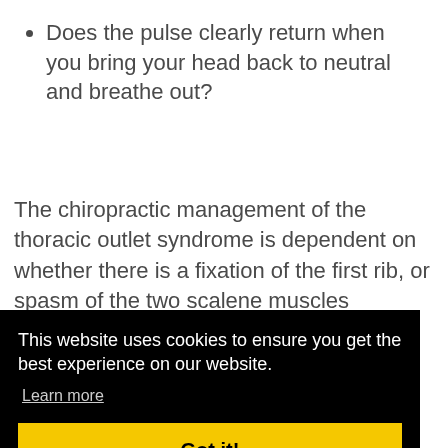Does the pulse clearly return when you bring your head back to neutral and breathe out?
The chiropractic management of the thoracic outlet syndrome is dependent on whether there is a fixation of the first rib, or spasm of the two scalene muscles involved. If either, or both, are found then
This website uses cookies to ensure you get the best experience on our website.
Learn more
Got it!
part by the upper limb tension test, but